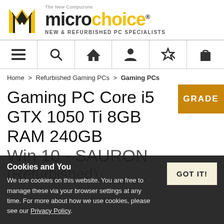[Figure (logo): Microchoice logo — geometric yellow/black M icon with 'microchoice' brand name and tagline 'The New Compuzone' and subtitle 'NEW & REFURBISHED PC SPECIALISTS']
[Figure (infographic): Navigation bar with 6 icons: hamburger menu, search/magnifying glass, home/house, user/person, magic wand/star, shopping bag]
Home > Refurbished Gaming PCs > Gaming PCs
Gaming PC Core i5 GTX 1050 Ti 8GB RAM 240GB SSD Win 10 - SAURON (Refurbished)
[Figure (other): Orange/brown GRADE badge in top-right corner]
Cookies and You
We use cookies on this website. You are free to manage these via your browser settings at any time. For more about how we use cookies, please see our Privacy Policy.
GOT IT!